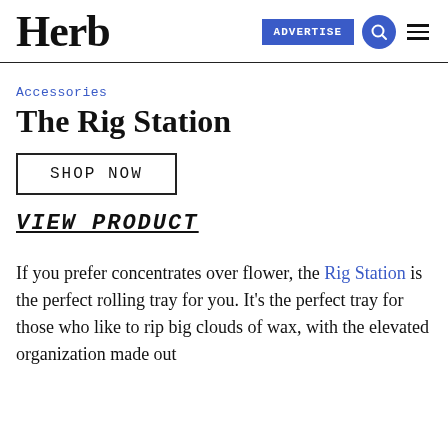Herb | ADVERTISE
Accessories
The Rig Station
SHOP NOW
VIEW PRODUCT
If you prefer concentrates over flower, the Rig Station is the perfect rolling tray for you. It's the perfect tray for those who like to rip big clouds of wax, with the elevated organization made out